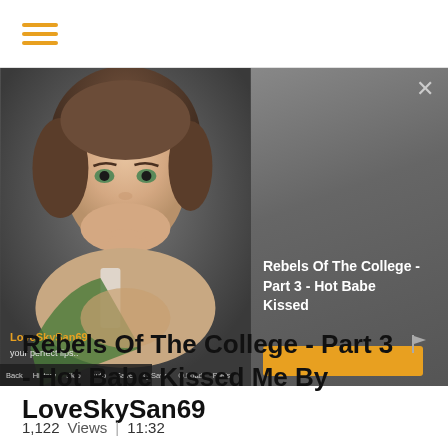≡ (hamburger menu)
[Figure (screenshot): Screenshot of an adult visual novel game 'LoveSkySan69' showing an animated female character with brown hair smiling, with game menu bar at bottom. An overlay ad panel on the right shows 'Rebels Of The College - Part 3 - Hot Babe Kissed' with an orange button. A close X button appears top right.]
Rebels Of The College - Part 3 - Hot Babe Kissed Me By LoveSkySan69
1,122   Views | 11:32